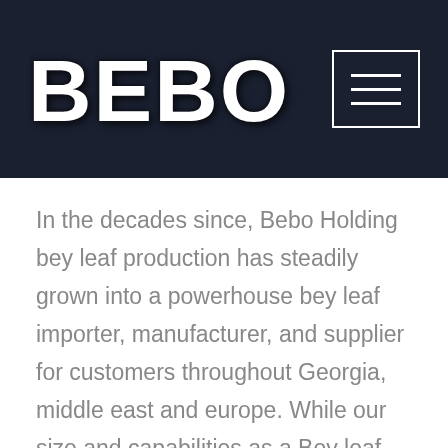[Figure (logo): BEBO logo in large bold white text on dark navy background header with hamburger menu icon in top right]
In the decades since, Bebo Holding bey leaf production has steadily grown into a powerhouse bey leaf importer, manufacturer, and supplier for customers throughout Georgia, middle east and europe. While our size and capabilities as a Bey leaf importer, manufacturer and supplier have greatly expanded, some things haven't changed: our focus on quality, integrity and the family's involvement in the business. Our culture is grounded in integrity and respect. This means adhering to the highest standards of ethics. Our reputation as an ethical